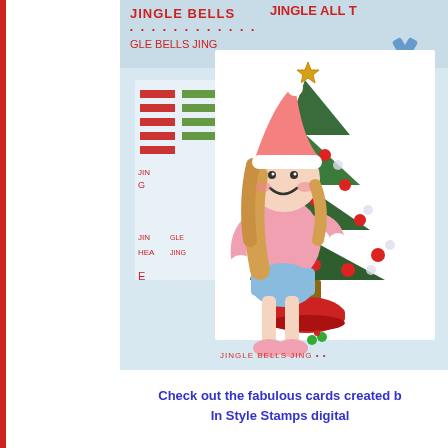[Figure (photo): A handmade Christmas card featuring a cartoon girl in a pink outfit and Santa hat peeking out from behind a decorated Christmas tree with a gold star on top. The card is set against layered patterned papers with Christmas text (Jingle Bells, etc.) in red and blue. A blue snowflake embellishment is visible in the top right corner.]
Check out the fabulous cards created b... In Style Stamps digital...